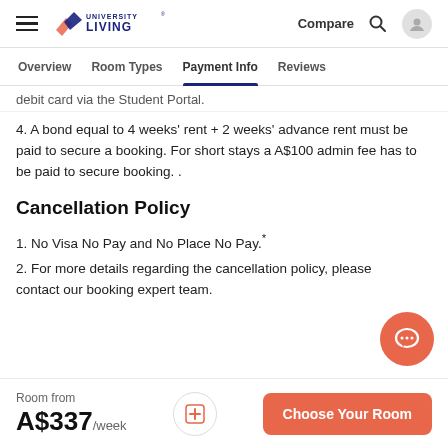University Living | Compare
Overview  Room Types  Payment Info  Reviews
debit card via the Student Portal.
4. A bond equal to 4 weeks' rent + 2 weeks' advance rent must be paid to secure a booking. For short stays a A$100 admin fee has to be paid to secure booking. .
Cancellation Policy
1. No Visa No Pay and No Place No Pay.*
2. For more details regarding the cancellation policy, please contact our booking expert team.
Room from
A$337/week
Choose Your Room